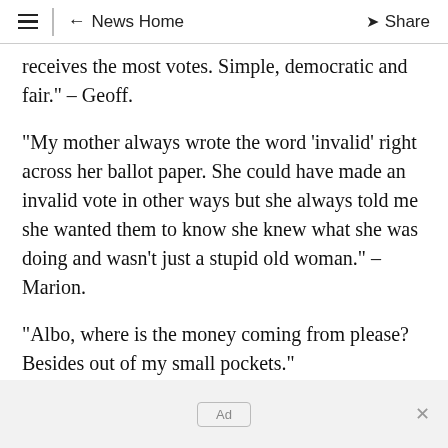≡ | ← News Home  Share
receives the most votes. Simple, democratic and fair." – Geoff.
"My mother always wrote the word 'invalid' right across her ballot paper. She could have made an invalid vote in other ways but she always told me she wanted them to know she knew what she was doing and wasn't just a stupid old woman." – Marion.
"Albo, where is the money coming from please? Besides out of my small pockets."